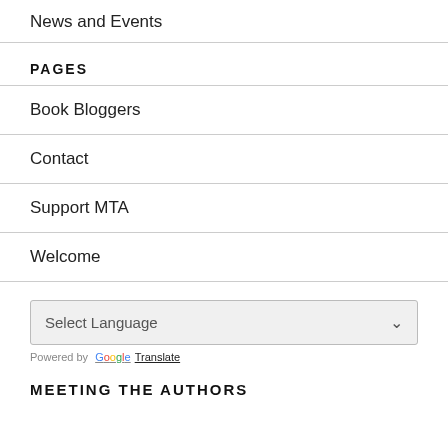News and Events
PAGES
Book Bloggers
Contact
Support MTA
Welcome
Select Language
Powered by Google Translate
MEETING THE AUTHORS